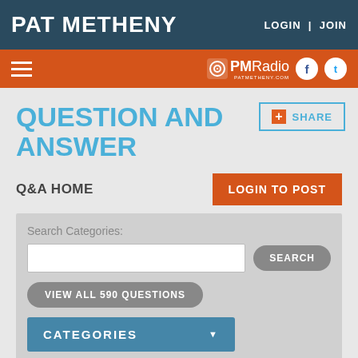PAT METHENY | LOGIN | JOIN
QUESTION AND ANSWER
SHARE
Q&A HOME
LOGIN TO POST
Search Categories:
SEARCH
VIEW ALL 590 QUESTIONS
CATEGORIES
Welcome to the Question &